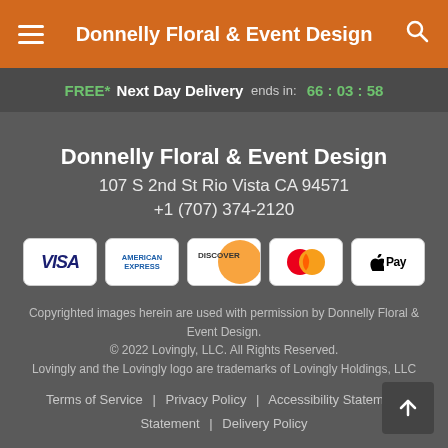Donnelly Floral & Event Design
FREE* Next Day Delivery ends in: 66:03:58
Donnelly Floral & Event Design
107 S 2nd St Rio Vista CA 94571
+1 (707) 374-2120
[Figure (other): Payment method icons: Visa, American Express, Discover, Mastercard, Apple Pay]
Copyrighted images herein are used with permission by Donnelly Floral & Event Design.
© 2022 Lovingly, LLC. All Rights Reserved.
Lovingly and the Lovingly logo are trademarks of Lovingly Holdings, LLC
Terms of Service | Privacy Policy | Accessibility Statement | Delivery Policy